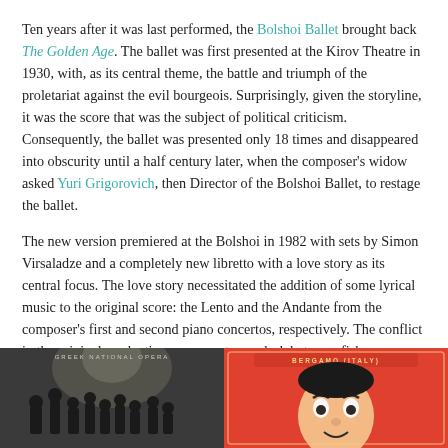Ten years after it was last performed, the Bolshoi Ballet brought back The Golden Age. The ballet was first presented at the Kirov Theatre in 1930, with, as its central theme, the battle and triumph of the proletariat against the evil bourgeois. Surprisingly, given the storyline, it was the score that was the subject of political criticism. Consequently, the ballet was presented only 18 times and disappeared into obscurity until a half century later, when the composer's widow asked Yuri Grigorovich, then Director of the Bolshoi Ballet, to restage the ballet.
The new version premiered at the Bolshoi in 1982 with sets by Simon Virsaladze and a completely new libretto with a love story as its central focus. The love story necessitated the addition of some lyrical music to the original score: the Lento and the Andante from the composer's first and second piano concertos, respectively. The conflict in the original production was recast as a clash between fishermen – the idealistic and morally superior workers – and society's criminal elements.
[Figure (photo): Partial view of a Greek National Opera promotional image with dark background showing silhouetted figures]
[Figure (photo): Partial view of a Bergamo Italy promotional image with red background showing a cartoon/illustrated face]